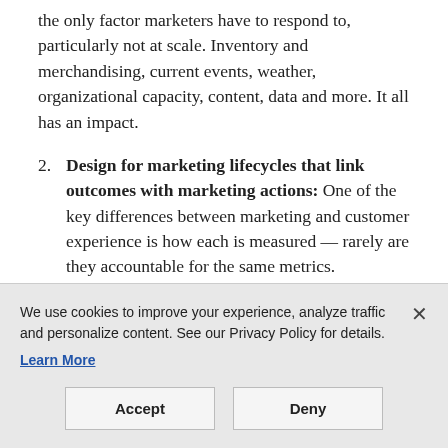the only factor marketers have to respond to, particularly not at scale. Inventory and merchandising, current events, weather, organizational capacity, content, data and more. It all has an impact.
Design for marketing lifecycles that link outcomes with marketing actions: One of the key differences between marketing and customer experience is how each is measured — rarely are they accountable for the same metrics. Marketers can incorporate customer experience principles by thinking about marketing in the context of a lifecycle: the progressive phases leading up to a
We use cookies to improve your experience, analyze traffic and personalize content. See our Privacy Policy for details.
Learn More
Accept
Deny